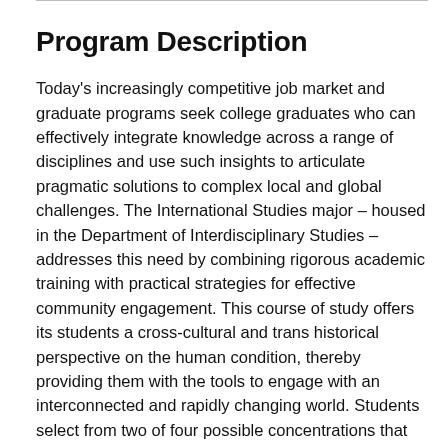Program Description
Today's increasingly competitive job market and graduate programs seek college graduates who can effectively integrate knowledge across a range of disciplines and use such insights to articulate pragmatic solutions to complex local and global challenges. The International Studies major – housed in the Department of Interdisciplinary Studies – addresses this need by combining rigorous academic training with practical strategies for effective community engagement. This course of study offers its students a cross-cultural and trans historical perspective on the human condition, thereby providing them with the tools to engage with an interconnected and rapidly changing world. Students select from two of four possible concentrations that will prepare them for careers in business, law, government, and the humanities. An emphasis on community-based and –